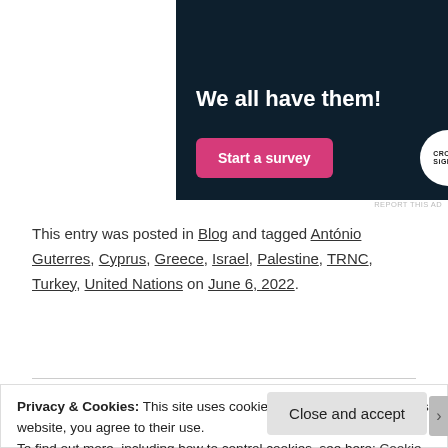[Figure (illustration): Dark navy advertisement banner for Crowdsignal survey tool with white bold text 'We all have them!', a pink 'Start a survey' button, and Crowdsignal circular logo]
REPORT THIS AD
This entry was posted in Blog and tagged António Guterres, Cyprus, Greece, Israel, Palestine, TRNC, Turkey, United Nations on June 6, 2022.
Privacy & Cookies: This site uses cookies. By continuing to use this website, you agree to their use.
To find out more, including how to control cookies, see here: Cookie Policy